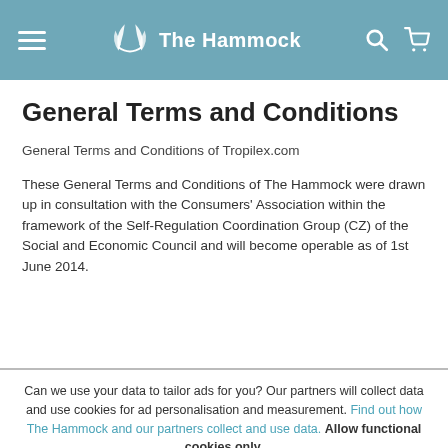The Hammock
General Terms and Conditions
General Terms and Conditions of Tropilex.com
These General Terms and Conditions of The Hammock were drawn up in consultation with the Consumers' Association within the framework of the Self-Regulation Coordination Group (CZ) of the Social and Economic Council and will become operable as of 1st June 2014.
Can we use your data to tailor ads for you? Our partners will collect data and use cookies for ad personalisation and measurement. Find out how The Hammock and our partners collect and use data. Allow functional cookies only.
OK